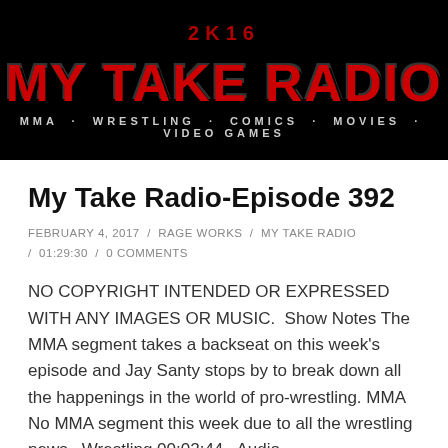[Figure (logo): My Take Radio logo banner on black background with red stylized text 'MY TAKE RADIO' and subtitle 'MMA · WRESTLING · COMICS · MOVIES · VIDEO GAMES']
My Take Radio-Episode 392
FEBRUARY 4, 2017 / RAGE WORKS / MY TAKE RADIO / 01:29:30 / 0 COMMENTS
NO COPYRIGHT INTENDED OR EXPRESSED WITH ANY IMAGES OR MUSIC. Show Notes The MMA segment takes a backseat on this week's episode and Jay Santy stops by to break down all the happenings in the world of pro-wrestling. MMA No MMA segment this week due to all the wrestling news. Wrestling 00:02:44– Audio...